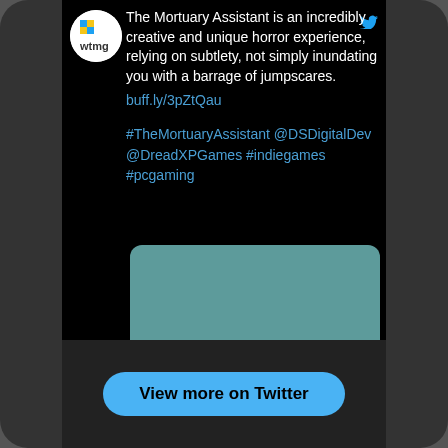The Mortuary Assistant is an incredibly creative and unique horror experience, relying on subtlety, not simply inundating you with a barrage of jumpscares. buff.ly/3pZtQau
#TheMortuaryAssistant @DSDigitalDev @DreadXPGames #indiegames #pcgaming
[Figure (other): Teal/green-grey placeholder image for embedded media]
12
View more on Twitter